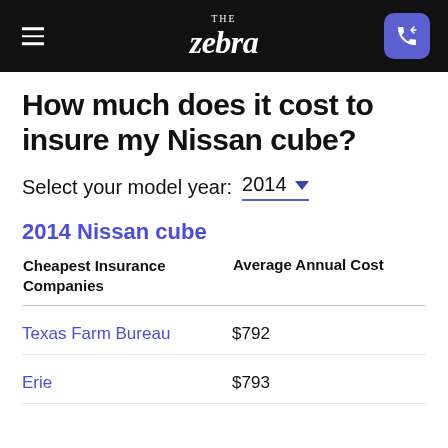THE zebra
How much does it cost to insure my Nissan cube?
Select your model year: 2014
2014 Nissan cube
| Cheapest Insurance Companies | Average Annual Cost |
| --- | --- |
| Texas Farm Bureau | $792 |
| Erie | $793 |